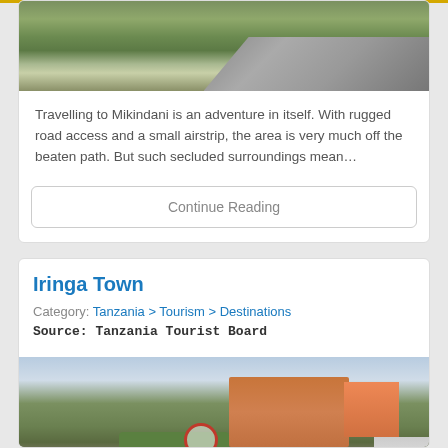[Figure (photo): Landscape photo showing a road and grassy area, partially visible at top of page]
Travelling to Mikindani is an adventure in itself. With rugged road access and a small airstrip, the area is very much off the beaten path. But such secluded surroundings mean…
Continue Reading
Iringa Town
Category: Tanzania > Tourism > Destinations
Source: Tanzania Tourist Board
[Figure (photo): Street scene of Iringa Town showing a busy road with buildings, a circular road sign, hedges, pedestrians, and a truck on the right side]